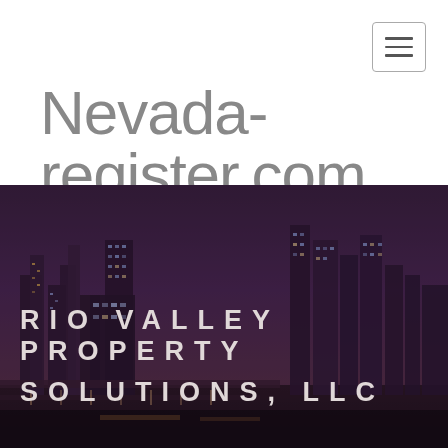[Figure (screenshot): Navigation hamburger menu button in top-right corner, white background with three horizontal lines icon]
Nevada-register.com
[Figure (photo): City skyline at night with purple/dark toned overlay, showing tall buildings and city lights]
RIO VALLEY PROPERTY SOLUTIONS, LLC